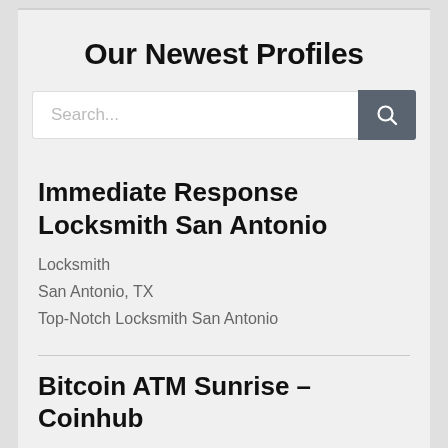Our Newest Profiles
[Figure (other): Search bar with text input and search button]
Immediate Response Locksmith San Antonio
Locksmith
San Antonio, TX
Top-Notch Locksmith San Antonio
Bitcoin ATM Sunrise – Coinhub